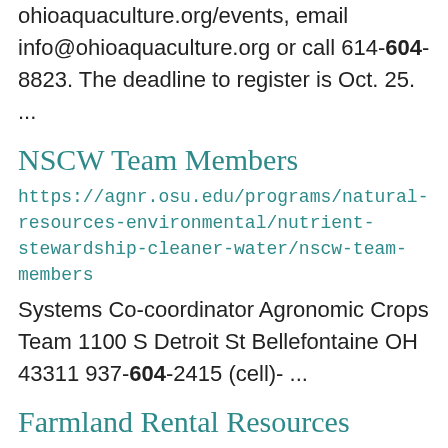ohioaquaculture.org/events, email info@ohioaquaculture.org or call 614-604-8823. The deadline to register is Oct. 25. ...
NSCW Team Members
https://agnr.osu.edu/programs/natural-resources-environmental/nutrient-stewardship-cleaner-water/nscw-team-members
Systems Co-coordinator Agronomic Crops Team 1100 S Detroit St Bellefontaine OH 43311 937-604-2415 (cell)- ...
Farmland Rental Resources
https://paulding.osu.edu/program-areas/agriculture-and-natural-resources/farmland-rental-resources
Rents for Farmland, FR-0002-01 Farm